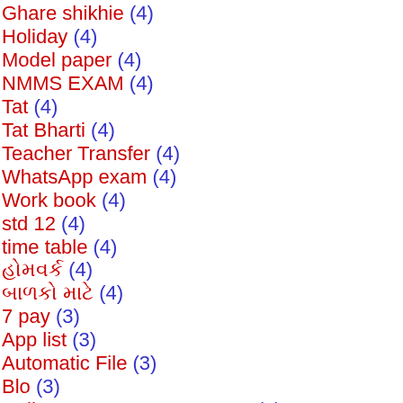Ghare shikhie (4)
Holiday (4)
Model paper (4)
NMMS EXAM (4)
Tat (4)
Tat Bharti (4)
Teacher Transfer (4)
WhatsApp exam (4)
Work book (4)
std 12 (4)
time table (4)
હોમવર્ક (4)
બાળકો માટે (4)
7 pay (3)
App list (3)
Automatic File (3)
Blo (3)
Caller Name Announcer App (3)
Corona vaccination (3)